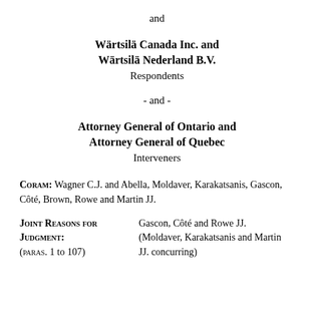and
Wärtsilä Canada Inc. and Wärtsilä Nederland B.V.
Respondents
- and -
Attorney General of Ontario and Attorney General of Quebec
Interveners
Coram: Wagner C.J. and Abella, Moldaver, Karakatsanis, Gascon, Côté, Brown, Rowe and Martin JJ.
Joint Reasons for Judgment: (paras. 1 to 107)
Gascon, Côté and Rowe JJ. (Moldaver, Karakatsanis and Martin JJ. concurring)